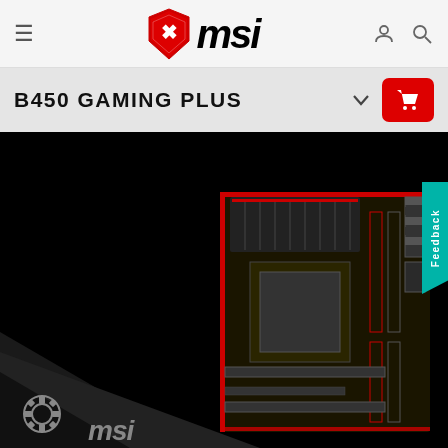≡  msi  [user icon] [search icon]
B450 GAMING PLUS
[Figure (screenshot): MSI B450 GAMING PLUS motherboard product page screenshot showing the motherboard against a black background, with MSI logo and gear icon in the bottom left corner, and a teal Feedback tab on the right edge]